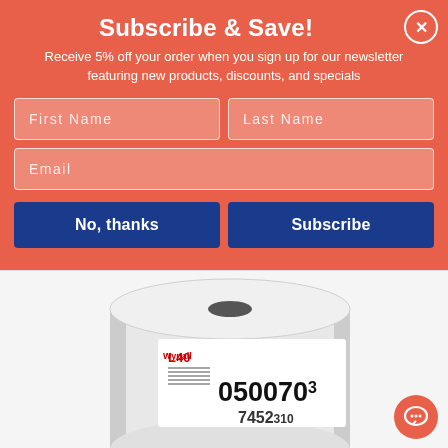Subscribe & Save!
Receive 5% off your order when you sign up for our newsletter featuring new products, discounts, and specials
[Figure (screenshot): Newsletter signup modal with First Name, Last Name, and Email input fields, plus No thanks and Subscribe buttons on a coral/salmon red background]
[Figure (photo): Product photo of a large white paper wiper roll labeled L40 with product code 050070 3 and barcode 7452 310]